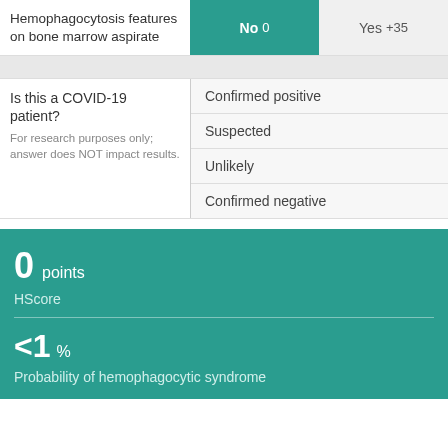| Criterion | No | Yes |
| --- | --- | --- |
| Hemophagocytosis features on bone marrow aspirate | 0 | +35 |
Is this a COVID-19 patient? For research purposes only; answer does NOT impact results.
Confirmed positive
Suspected
Unlikely
Confirmed negative
0 points
HScore
<1 %
Probability of hemophagocytic syndrome